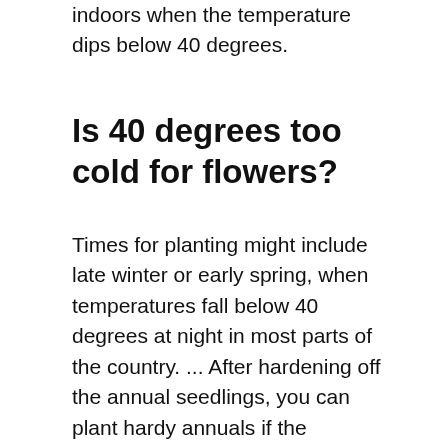indoors when the temperature dips below 40 degrees.
Is 40 degrees too cold for flowers?
Times for planting might include late winter or early spring, when temperatures fall below 40 degrees at night in most parts of the country. ... After hardening off the annual seedlings, you can plant hardy annuals if the temperature stays at 40 degrees or above.
THIS IS FUN: Is the arrangement of the flowers on a plant?